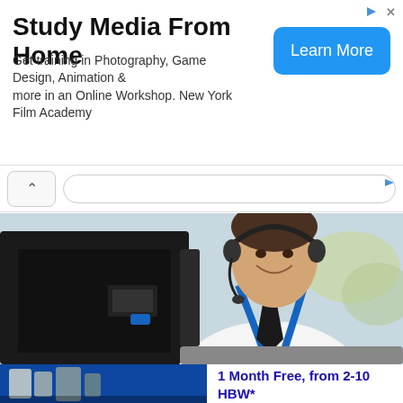Study Media From Home
Get training in Photography, Game Design, Animation & more in an Online Workshop. New York Film Academy
Learn More
[Figure (photo): Man wearing a headset and blue lanyard sitting at a computer, smiling]
Get IT Trained
Ad  CareerTechnical Institute
1 Month Free, from 2-10 HBW*
[Figure (photo): Bottom left portion of a second ad, blue background with grey product canisters]